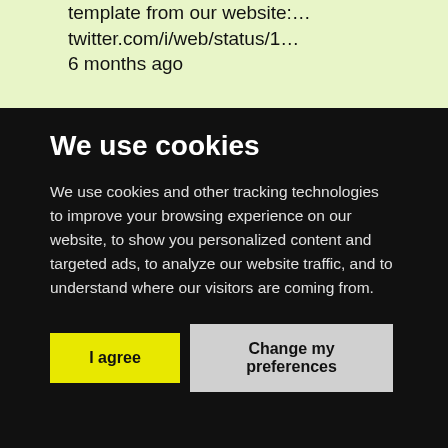template from our website:… twitter.com/i/web/status/1… 6 months ago
We use cookies
We use cookies and other tracking technologies to improve your browsing experience on our website, to show you personalized content and targeted ads, to analyze our website traffic, and to understand where our visitors are coming from.
I agree
Change my preferences